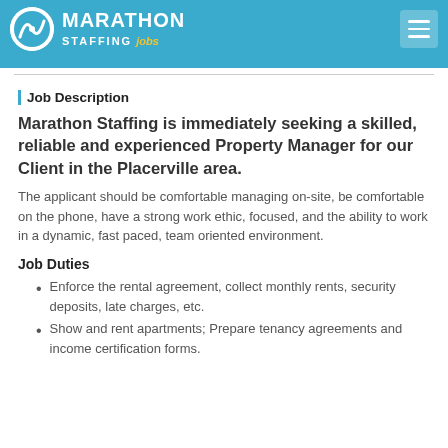Marathon Staffing Jobs
Job Description
Marathon Staffing is immediately seeking a skilled, reliable and experienced Property Manager for our Client in the Placerville area.
The applicant should be comfortable managing on-site, be comfortable on the phone, have a strong work ethic, focused, and the ability to work in a dynamic, fast paced, team oriented environment.
Job Duties
Enforce the rental agreement, collect monthly rents, security deposits, late charges, etc.
Show and rent apartments; Prepare tenancy agreements and income certification forms.